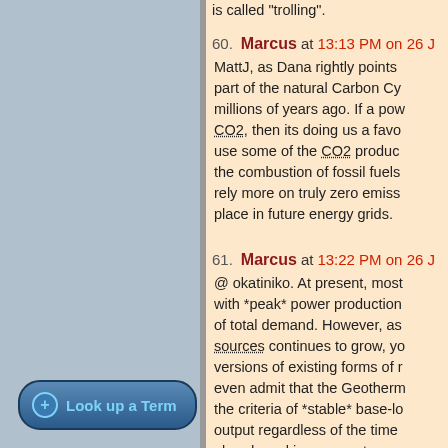is called "trolling".
60. Marcus at 13:13 PM on 26 J
MattJ, as Dana rightly points out, CO2 was part of the natural Carbon Cy... millions of years ago. If a pow... CO2, then its doing us a favo... use some of the CO2 produc... the combustion of fossil fuels... rely more on truly zero emiss... place in future energy grids.
61. Marcus at 13:22 PM on 26 J
@ okatiniko. At present, most... with *peak* power production... of total demand. However, as sources continues to grow, yo... versions of existing forms of r... even admit that the Geotherm... the criteria of *stable* base-lo... output regardless of the time... already making moves towar... stable-with Germany switchin... Compressed Air. So you see... Fuel Industry lie that renewab...